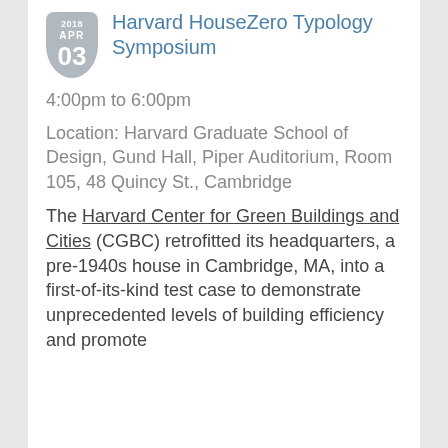Harvard HouseZero Typology Symposium
4:00pm to 6:00pm
Location: Harvard Graduate School of Design, Gund Hall, Piper Auditorium, Room 105, 48 Quincy St., Cambridge
The Harvard Center for Green Buildings and Cities (CGBC) retrofitted its headquarters, a pre-1940s house in Cambridge, MA, into a first-of-its-kind test case to demonstrate unprecedented levels of building efficiency and promote